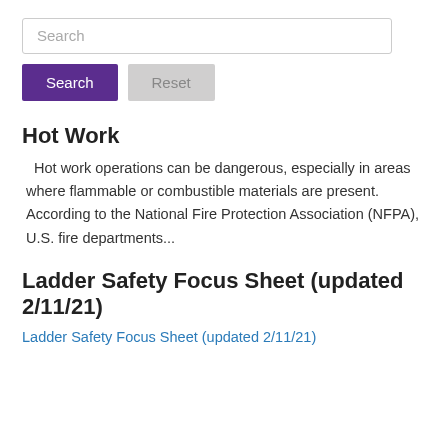[Figure (screenshot): Search input box with placeholder text 'Search']
[Figure (screenshot): Two buttons: 'Search' (purple) and 'Reset' (gray)]
Hot Work
Hot work operations can be dangerous, especially in areas where flammable or combustible materials are present. According to the National Fire Protection Association (NFPA), U.S. fire departments...
Ladder Safety Focus Sheet (updated 2/11/21)
Ladder Safety Focus Sheet (updated 2/11/21)